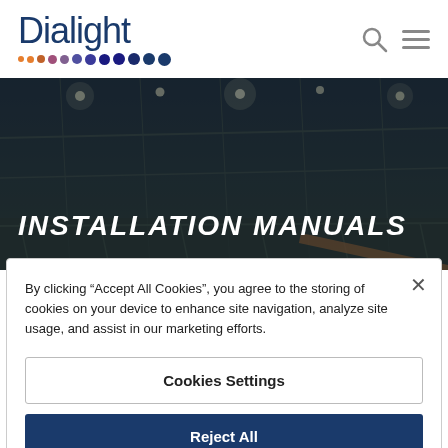Dialight — navigation header with logo, search icon, and hamburger menu
[Figure (photo): Industrial facility interior with overhead LED lighting and scaffolding, used as hero banner background]
INSTALLATION MANUALS
By clicking “Accept All Cookies”, you agree to the storing of cookies on your device to enhance site navigation, analyze site usage, and assist in our marketing efforts.
Cookies Settings
Reject All